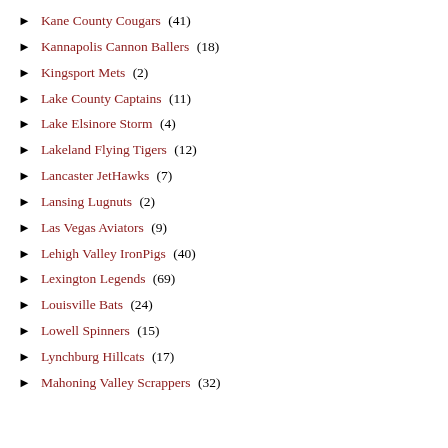► Kane County Cougars (41)
► Kannapolis Cannon Ballers (18)
► Kingsport Mets (2)
► Lake County Captains (11)
► Lake Elsinore Storm (4)
► Lakeland Flying Tigers (12)
► Lancaster JetHawks (7)
► Lansing Lugnuts (2)
► Las Vegas Aviators (9)
► Lehigh Valley IronPigs (40)
► Lexington Legends (69)
► Louisville Bats (24)
► Lowell Spinners (15)
► Lynchburg Hillcats (17)
► Mahoning Valley Scrappers (32)